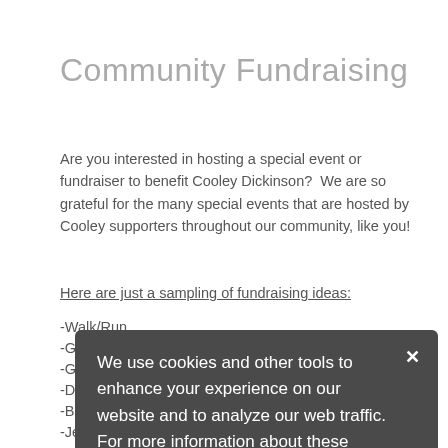Community Fundraising
Are you interested in hosting a special event or fundraiser to benefit Cooley Dickinson?  We are so grateful for the many special events that are hosted by Cooley supporters throughout our community, like you!
Here are just a sampling of fundraising ideas:
-Walk/Run
-Golf Tournament
-Gala
-Dinner Party
-Bake Sale
-Jewelry Sale
-Art Show
-And more!
Take the first step and download our 3rd party fundraising event form below; or, contact our development office at (413) 582-2255.
We use cookies and other tools to enhance your experience on our website and to analyze our web traffic. For more information about these cookies and the data collected, please refer to our Privacy Policy.